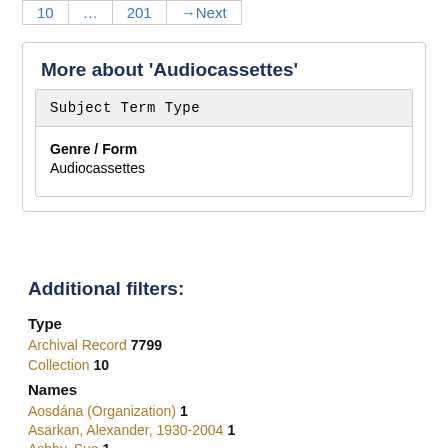10  …  201  →Next
More about 'Audiocassettes'
| Subject Term Type |
| --- |
| Genre / Form
Audiocassettes |
Additional filters:
Type
Archival Record  7799
Collection  10
Names
Aosdána (Organization)  1
Asarkan, Alexander, 1930-2004  1
Ashby, Sue  1